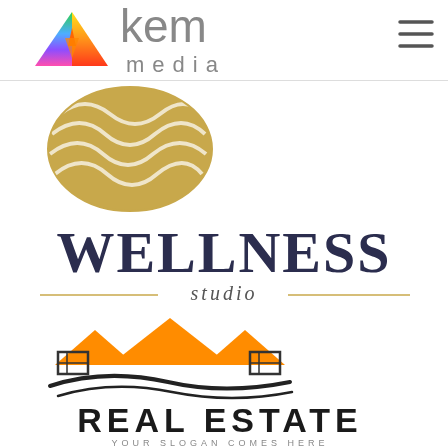[Figure (logo): KEM Media logo with colorful triangular arrow icon and gray 'kem media' text, plus hamburger menu icon top right]
[Figure (logo): Circular golden/tan logo with flowing wave lines inside]
[Figure (logo): Wellness Studio logo: large dark navy uppercase WELLNESS text, italic 'studio' below with golden decorative lines on sides]
[Figure (logo): Real Estate logo with orange rooftop zigzag lines forming mountain/house shapes, black house silhouette below with curved swoosh lines, and REAL ESTATE text with YOUR SLOGAN COMES HERE subtitle]